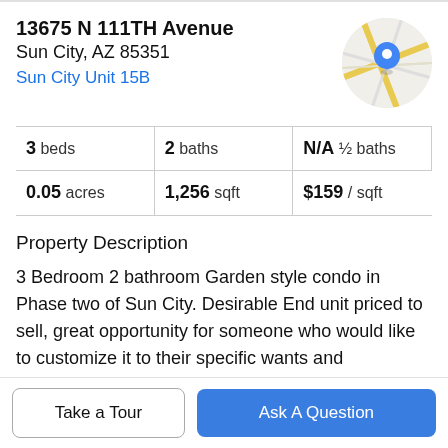13675 N 111TH Avenue
Sun City, AZ 85351
Sun City Unit 15B
[Figure (map): Circular map thumbnail showing street map with blue location pin marker]
3 beds   2 baths   N/A ½ baths
0.05 acres   1,256 sqft   $159 / sqft
Property Description
3 Bedroom 2 bathroom Garden style condo in Phase two of Sun City. Desirable End unit priced to sell, great opportunity for someone who would like to customize it to their specific wants and specifications. Big ticket items such as roof and heat pump and water heater have been
Take a Tour
Ask A Question